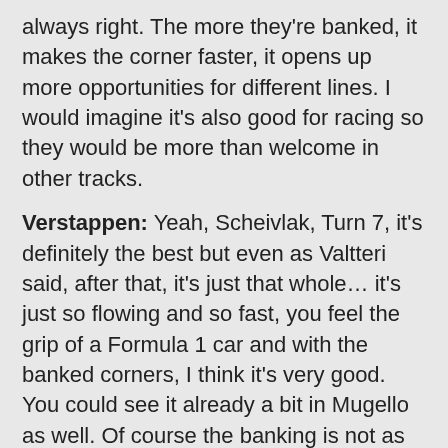always right. The more they're banked, it makes the corner faster, it opens up more opportunities for different lines. I would imagine it's also good for racing so they would be more than welcome in other tracks.
Verstappen: Yeah, Scheivlak, Turn 7, it's definitely the best but even as Valtteri said, after that, it's just that whole… it's just so flowing and so fast, you feel the grip of a Formula 1 car and with the banked corners, I think it's very good. You could see it already a bit in Mugello as well. Of course the banking is not as severe as here but the thing is that when we have these cars which are so wide and have so much downforce, you cannot do the same line when you are behind so you need the opportunity to go either up or down, depends on how the corner is. So yeah, the more banking or the width of the track can help as long as we don't have off camber corners because when it's off cambered, you can only do one line even when you are behind, because if you want to go on the outside, you just lose so much grip. So it's a lesson maybe, for other tracks or future tracks, that do not build any off camber corners.
Hamilton: For me, I think Turn 3. Even though it's our weakest corner, it's amazing that the banking is very